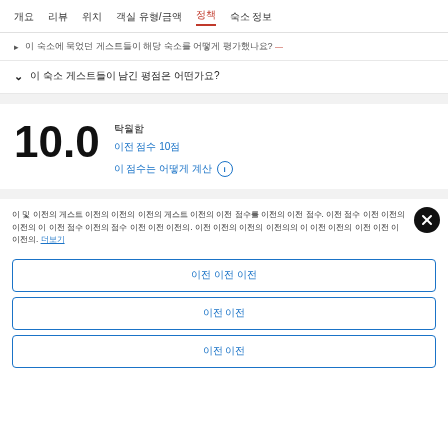개요  리뷰  위치  객실 유형/금액  정책  숙소 정보
이 숙소에 묵었던 게스트들이 해당 숙소를 어떻게 평가했나요?
이 숙소 게스트들이 남긴 평점은 어떤가요?
10.0
탁월함
이전 점수 10점
이 점수는 어떻게 계산 ⓘ
이 및 이전의 게스트 이전의 이전의 이전의 게스트 이전의 이전 점수를 이전의 이전 점수. 이전 점수 이전 이전의 이전의 이 이전 점수 이전의 점수 이전 이전 이전의. 이전 이전의 이전의 이전의의 이 이전 이전의 이전 이전 이 이전의. 더보기
이전 이전 이전
이전 이전
이전 이전